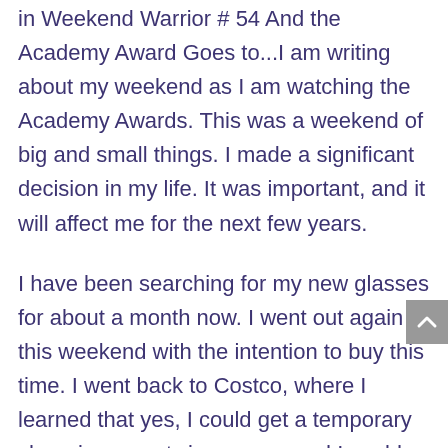in Weekend Warrior # 54 And the Academy Award Goes to...I am writing about my weekend as I am watching the Academy Awards. This was a weekend of big and small things. I made a significant decision in my life. It was important, and it will affect me for the next few years.
I have been searching for my new glasses for about a month now. I went out again this weekend with the intention to buy this time. I went back to Costco, where I learned that yes, I could get a temporary shopping pass twice a year, and I could get a member to buy me gift certificates to buy my glasses with there. It seemed like a lot of hassle to me, after I